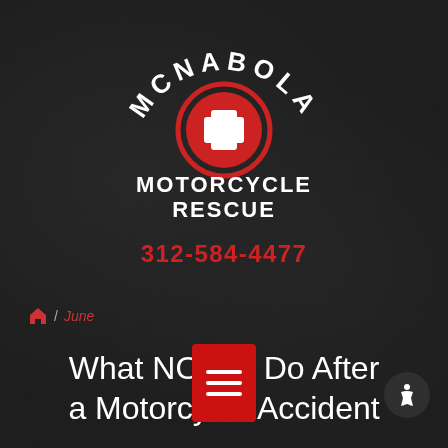[Figure (logo): McNabola Motorcycle Rescue logo: arched text MCNABOLA above a red circle with white cross (medical/rescue cross), with text MOTORCYCLE RESCUE below and phone number 312-584-4477 in red]
🏠 / June
What NOT to Do After a Motorcycle Accident